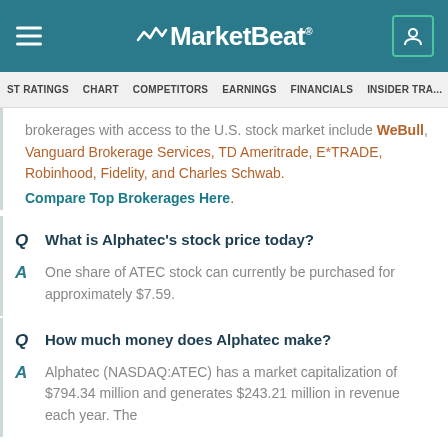MarketBeat
ST RATINGS  CHART  COMPETITORS  EARNINGS  FINANCIALS  INSIDER TRAD
brokerages with access to the U.S. stock market include WeBull, Vanguard Brokerage Services, TD Ameritrade, E*TRADE, Robinhood, Fidelity, and Charles Schwab. Compare Top Brokerages Here.
Q  What is Alphatec's stock price today?
A  One share of ATEC stock can currently be purchased for approximately $7.59.
Q  How much money does Alphatec make?
A  Alphatec (NASDAQ:ATEC) has a market capitalization of $794.34 million and generates $243.21 million in revenue each year. The